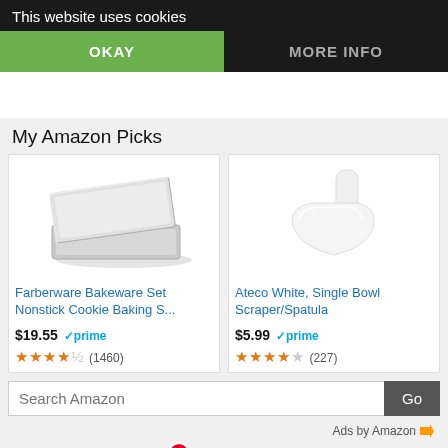Sugar Bananas
This website uses cookies
OKAY
MORE INFO
My Amazon Picks
[Figure (photo): Farberware nonstick baking sheet set, two silver metal cookie sheets stacked]
Farberware Bakeware Set Nonstick Cookie Baking S...
$19.55  prime  (1460)
[Figure (photo): Ateco white single bowl scraper/spatula, white plastic scoop shape]
Ateco White, Single Bowl Scraper/Spatula
$5.99  prime  (227)
Search Amazon
Ads by Amazon
[Figure (logo): Twitter, Facebook, Pinterest (badge 6), and green share social media buttons]